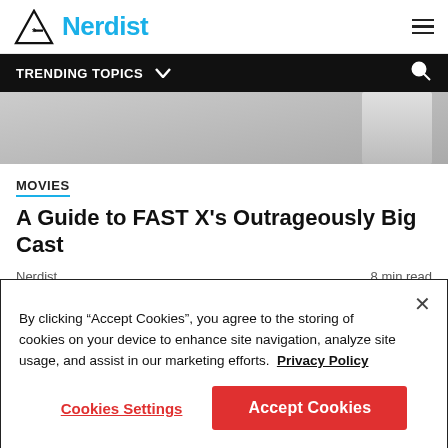Nerdist
TRENDING TOPICS
[Figure (photo): Partial hero image showing a person, cropped — grey/light tones]
MOVIES
A Guide to FAST X’s Outrageously Big Cast
Nerdist   8 min read
By clicking “Accept Cookies”, you agree to the storing of cookies on your device to enhance site navigation, analyze site usage, and assist in our marketing efforts. Privacy Policy
Cookies Settings   Accept Cookies